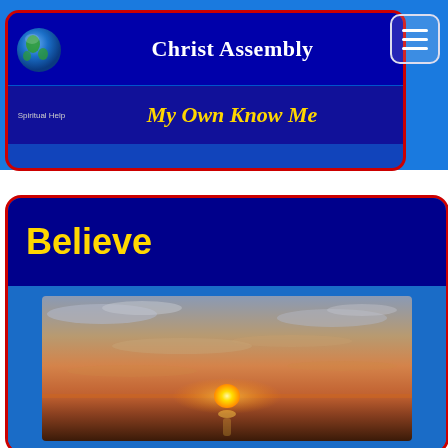Christ Assembly – My Own Know Me
[Figure (screenshot): Website header with globe icon, 'Christ Assembly' title in white on dark blue, and 'My Own Know Me' subtitle in gold italic. Hamburger menu button top right.]
Believe
[Figure (photo): Sunset over ocean/sea with warm orange and golden light on the horizon, wispy clouds in a grey-blue sky, sun partially above the waterline.]